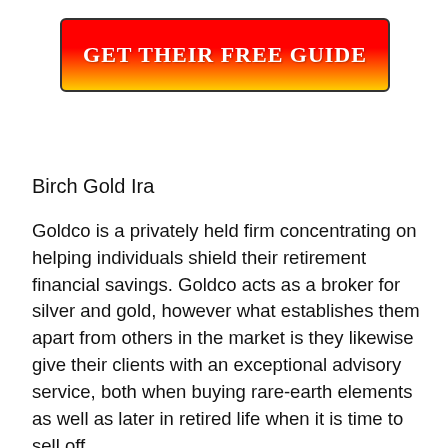[Figure (other): Red to gold gradient button with bold white text reading 'GET THEIR FREE GUIDE', bordered with dark outline and rounded corners]
Birch Gold Ira
Goldco is a privately held firm concentrating on helping individuals shield their retirement financial savings. Goldco acts as a broker for silver and gold, however what establishes them apart from others in the market is they likewise give their clients with an exceptional advisory service, both when buying rare-earth elements as well as later in retired life when it is time to sell off.